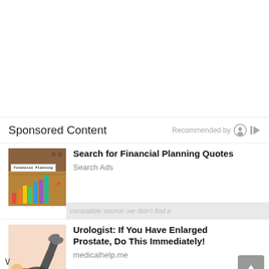Sponsored Content
Recommended by
[Figure (photo): Financial Planning chart thumbnail showing colorful bar chart with 'Financial Planning' label]
Search for Financial Planning Quotes
Search Ads
[Figure (illustration): Illustration of person lying down with legs raised, medical/urologist related image]
Urologist: If You Have Enlarged Prostate, Do This Immediately!
medicalhelp.me